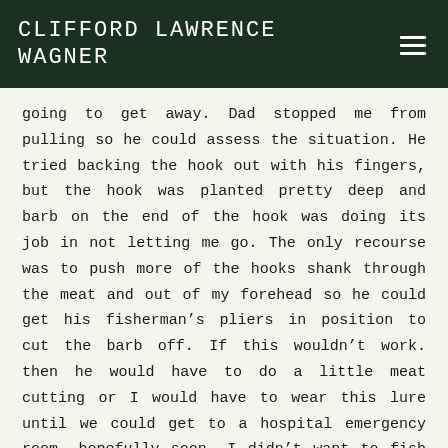CLIFFORD LAWRENCE WAGNER
going to get away. Dad stopped me from pulling so he could assess the situation. He tried backing the hook out with his fingers, but the hook was planted pretty deep and barb on the end of the hook was doing its job in not letting me go. The only recourse was to push more of the hooks shank through the meat and out of my forehead so he could get his fisherman’s pliers in position to cut the barb off. If this wouldn’t work. then he would have to do a little meat cutting or I would have to wear this lure until we could get to a hospital emergency room, hopefully soon. I didn’t want to fish all day with a hook in my head. I don’t think I could concentrate. The wire cutting